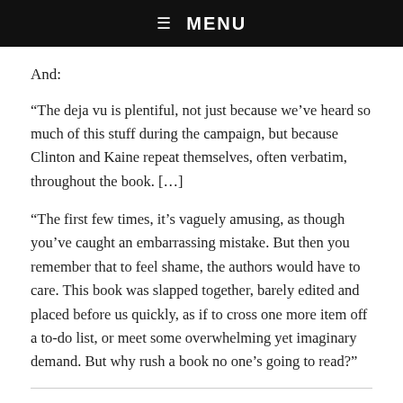☰  MENU
And:
“The deja vu is plentiful, not just because we’ve heard so much of this stuff during the campaign, but because Clinton and Kaine repeat themselves, often verbatim, throughout the book. […]
“The first few times, it’s vaguely amusing, as though you’ve caught an embarrassing mistake. But then you remember that to feel shame, the authors would have to care. This book was slapped together, barely edited and placed before us quickly, as if to cross one more item off a to-do list, or meet some overwhelming yet imaginary demand. But why rush a book no one’s going to read?”